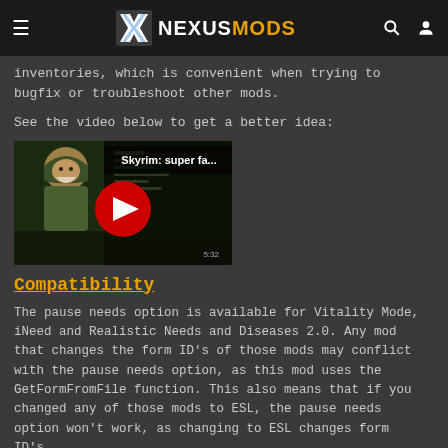NEXUSMODS
inventories, which is convenient when trying to bugfix or troubleshoot other mods.
See the video below to get a better idea:
[Figure (screenshot): YouTube video thumbnail showing 'Skyrim: super fa...' with a play button]
Compatibility
The pause needs option is available for Vitality Mode, iNeed and Realistic Needs and Diseases 2.0. Any mod that changes the form ID's of those mods may conflict with the pause needs option, as this mod uses the GetFormFromFile function. This also means that if you changed any of those mods to ESL, the pause needs option won't work, as changing to ESL changes form ID's.